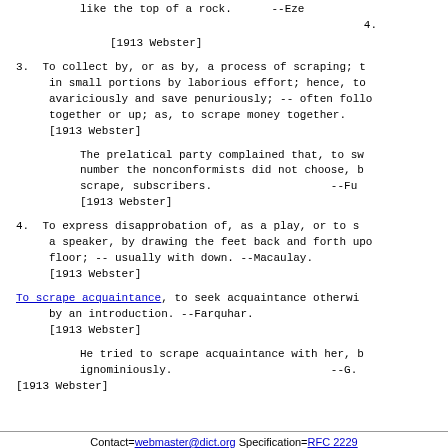like the top of a rock.      --Eze
4.
[1913 Webster]
3. To collect by, or as by, a process of scraping; to gather in small portions by laborious effort; hence, to get avariously and save penuriously; -- often followed by together or up; as, to scrape money together.
[1913 Webster]
The prelatical party complained that, to swell the number the nonconformists did not choose, but scrape, subscribers.   --Ful
[1913 Webster]
4. To express disapprobation of, as a play, or to silence a speaker, by drawing the feet back and forth upon the floor; -- usually with down. --Macaulay.
[1913 Webster]
To scrape acquaintance, to seek acquaintance otherwise than by an introduction. --Farquhar.
[1913 Webster]
He tried to scrape acquaintance with her, but was repulsed ignominiously.   --G.
[1913 Webster]
Contact=webmaster@dict.org Specification=RFC 2229